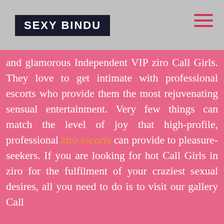SEXY BINDU
and glamorous Independent VIP ziro Call Girls. They love to get intimate with professional escorts who provide them the most rejuvenating sensual entertainment. Very few things can match the level of joy that high-profile, professional ziro escorts can provide to pleasure-seekers. If you are looking for hot Call Girls in ziro for the fulfilment of your craziest sexual desires, all you need to do is to visit our gallery Call
Call Now - 7521013943
SApp Us - 7521013943
sexy and stylish escorts